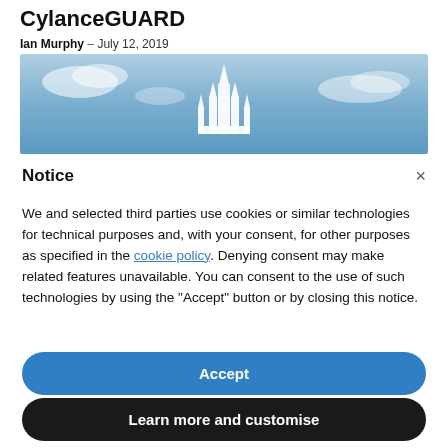CylanceGUARD
Ian Murphy – July 12, 2019
[Figure (photo): Hero banner image showing a blue sky with clouds and a white castle or cathedral silhouette in the center]
Notice
We and selected third parties use cookies or similar technologies for technical purposes and, with your consent, for other purposes as specified in the cookie policy. Denying consent may make related features unavailable. You can consent to the use of such technologies by using the "Accept" button or by closing this notice.
Accept
Learn more and customise